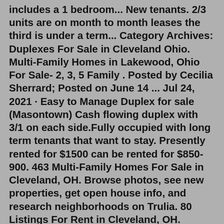includes a 1 bedroom... New tenants. 2/3 units are on month to month leases the third is under a term... Category Archives: Duplexes For Sale in Cleveland Ohio. Multi-Family Homes in Lakewood, Ohio For Sale- 2, 3, 5 Family . Posted by Cecilia Sherrard; Posted on June 14 ... Jul 24, 2021 · Easy to Manage Duplex for sale (Masontown) Cash flowing duplex with 3/1 on each side.Fully occupied with long term tenants that want to stay. Presently rented for $1500 can be rented for $850-900. 463 Multi-Family Homes For Sale in Cleveland, OH. Browse photos, see new properties, get open house info, and research neighborhoods on Trulia. 80 Listings For Rent in Cleveland, OH. Browse photos, see new properties, get open house info, and research neighborhoods on Trulia.Find your dream multi family home for sale in Cleveland, OH at realtor.com®. We found 511 active listings for multi family homes. See photos and more.20 Multi-Family Homes For Sale in Cleveland, TN. Browse photos, see new properties, get open house info, and research neighborhoods on Trulia.